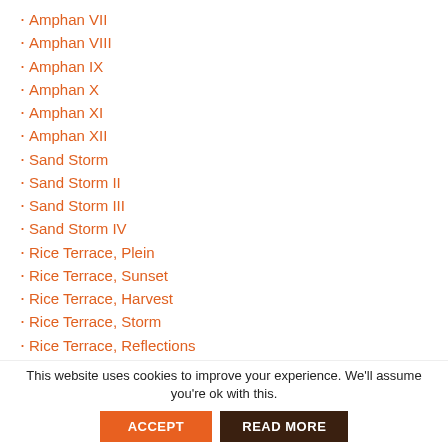Amphan VII
Amphan VIII
Amphan IX
Amphan X
Amphan XI
Amphan XII
Sand Storm
Sand Storm II
Sand Storm III
Sand Storm IV
Rice Terrace, Plein
Rice Terrace, Sunset
Rice Terrace, Harvest
Rice Terrace, Storm
Rice Terrace, Reflections
The American West Burns
California Fire I
California Fire II
California Fire III
This website uses cookies to improve your experience. We'll assume you're ok with this.